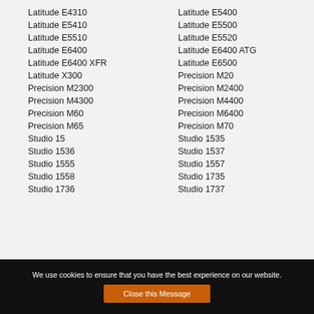Latitude E4310
Latitude E5400
Latitude E5410
Latitude E5500
Latitude E5510
Latitude E5520
Latitude E6400
Latitude E6400 ATG
Latitude E6400 XFR
Latitude E6500
Latitude X300
Precision M20
Precision M2300
Precision M2400
Precision M4300
Precision M4400
Precision M60
Precision M6400
Precision M65
Precision M70
Studio 15
Studio 1535
Studio 1536
Studio 1537
Studio 1555
Studio 1557
Studio 1558
Studio 1735
Studio 1736
Studio 1737
We use cookies to ensure that you have the best experience on our website.
Close this Message